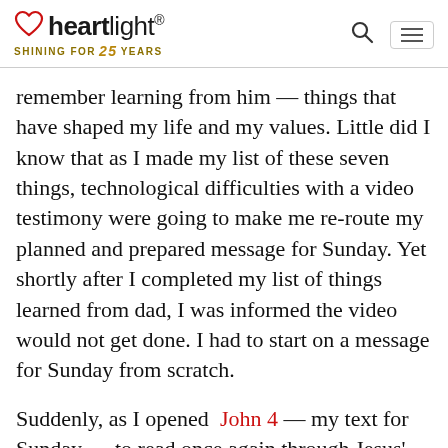heartlight® SHINING FOR 25 YEARS
remember learning from him — things that have shaped my life and my values. Little did I know that as I made my list of these seven things, technological difficulties with a video testimony were going to make me re-route my planned and prepared message for Sunday. Yet shortly after I completed my list of things learned from dad, I was informed the video would not get done. I had to start on a message for Sunday from scratch.
Suddenly, as I opened John 4 — my text for Sunday — to read once again through Jesus' encounter with the woman at the well, those